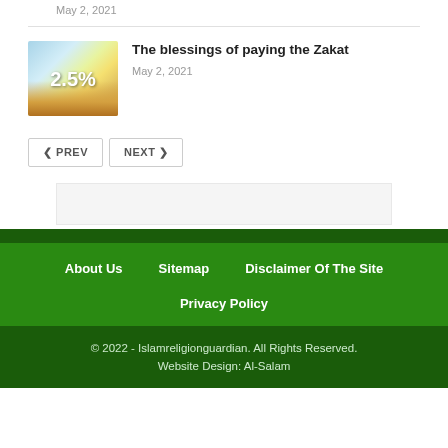May 2, 2021
[Figure (photo): Thumbnail image showing hands holding coins with 2.5% text, related to Zakat]
The blessings of paying the Zakat
May 2, 2021
PREV
NEXT
About Us   Sitemap   Disclaimer Of The Site   Privacy Policy   © 2022 - Islamreligionguardian. All Rights Reserved.   Website Design: Al-Salam